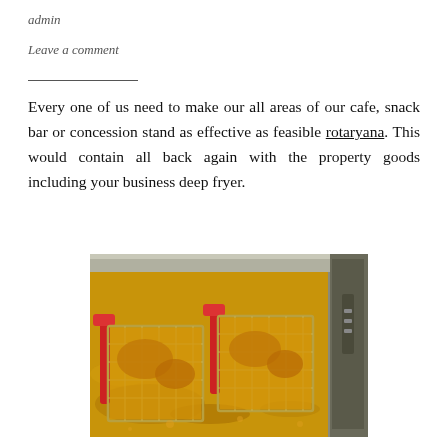admin
Leave a comment
Every one of us need to make our all areas of our cafe, snack bar or concession stand as effective as feasible rotaryana. This would contain all back again with the property goods including your business deep fryer.
[Figure (photo): A commercial deep fryer with two wire baskets with red handles submerged in hot oil, frying food. The fryer is stainless steel.]